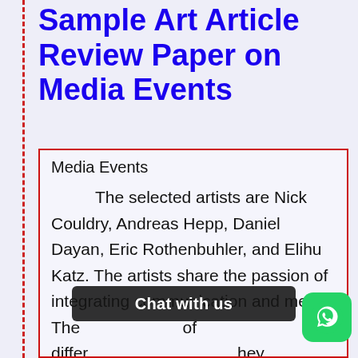Sample Art Article Review Paper on Media Events
Media Events

The selected artists are Nick Couldry, Andreas Hepp, Daniel Dayan, Eric Rothenbuhler, and Elihu Katz. The artists share the passion of integrating communication and media. They share the concept of differ... they